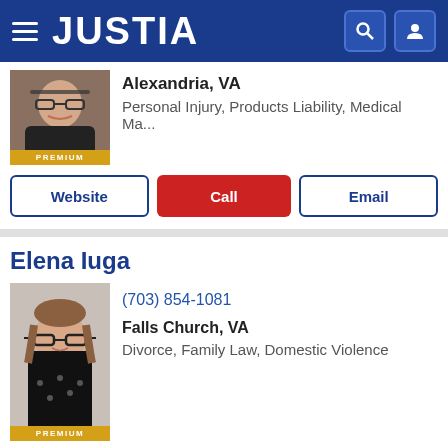JUSTIA
Alexandria, VA
Personal Injury, Products Liability, Medical Ma...
Website | Call | Email
Elena Iuga
(703) 854-1081
Falls Church, VA
Divorce, Family Law, Domestic Violence
Website | Call | Email
Benjamin N. Griffitts